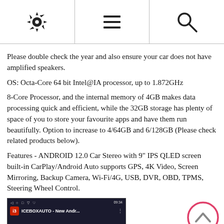[settings icon] [menu icon] [search icon]
Please double check the year and also ensure your car does not have amplified speakers.
OS: Octa-Core 64 bit Intel@IA processor, up to 1.872GHz
8-Core Processor, and the internal memory of 4GB makes data processing quick and efficient, while the 32GB storage has plenty of space of you to store your favourite apps and have them run beautifully. Option to increase to 4/64GB and 6/128GB (Please check related products below).
Features - ANDROID 12.0 Car Stereo with 9" IPS QLED screen built-in CarPlay/Android Auto supports GPS, 4K Video, Screen Mirroring, Backup Camera, Wi-Fi/4G, USB, DVR, OBD, TPMS, Steering Wheel Control.
[Figure (screenshot): Screenshot of ICEBOXAUTO Android car stereo interface showing app icons: APK installer, CarMate, car icon, Theme, AndroiTS GP..., with a YouTube play button overlay and status bar showing 09:34]
[Figure (other): Scroll-up button: circle with upward chevron in pink/rose color]